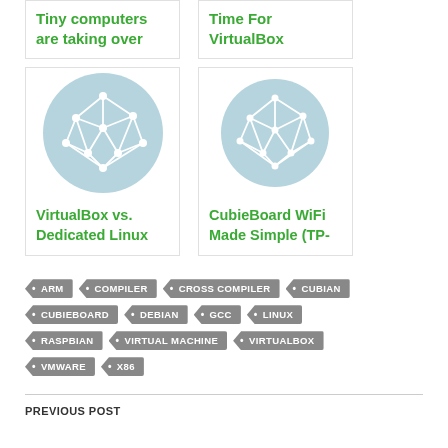[Figure (illustration): Card with text: Tiny computers are taking over]
[Figure (illustration): Card with text: Time For VirtualBox]
[Figure (illustration): Card with network mesh icon and title: VirtualBox vs. Dedicated Linux]
[Figure (illustration): Card with network mesh icon and title: CubieBoard WiFi Made Simple (TP-]
ARM
COMPILER
CROSS COMPILER
CUBIAN
CUBIEBOARD
DEBIAN
GCC
LINUX
RASPBIAN
VIRTUAL MACHINE
VIRTUALBOX
VMWARE
X86
PREVIOUS POST